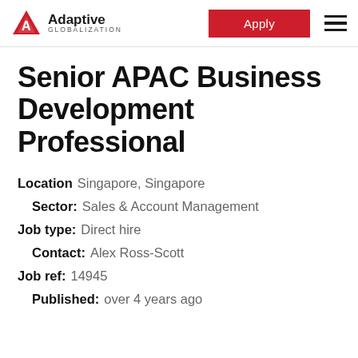Adaptive Globalization | Apply
Senior APAC Business Development Professional
Location: Singapore, Singapore
Sector: Sales & Account Management
Job type: Direct hire
Contact: Alex Ross-Scott
Job ref: 14945
Published: over 4 years ago